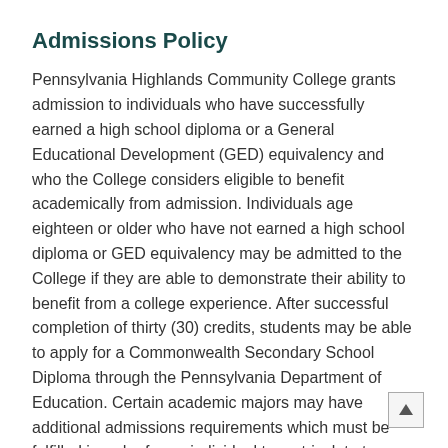Admissions Policy
Pennsylvania Highlands Community College grants admission to individuals who have successfully earned a high school diploma or a General Educational Development (GED) equivalency and who the College considers eligible to benefit academically from admission. Individuals age eighteen or older who have not earned a high school diploma or GED equivalency may be admitted to the College if they are able to demonstrate their ability to benefit from a college experience. After successful completion of thirty (30) credits, students may be able to apply for a Commonwealth Secondary School Diploma through the Pennsylvania Department of Education. Certain academic majors may have additional admissions requirements which must be fulfilled in order for an individual to matriculate to pursue a specific degree, diploma, or certificate.
Matriculation